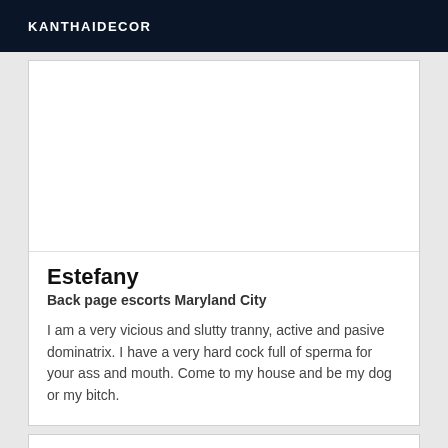KANTHAIDECOR
Estefany
Back page escorts Maryland City
I am a very vicious and slutty tranny, active and pasive dominatrix. I have a very hard cock full of sperma for your ass and mouth. Come to my house and be my dog or my bitch.